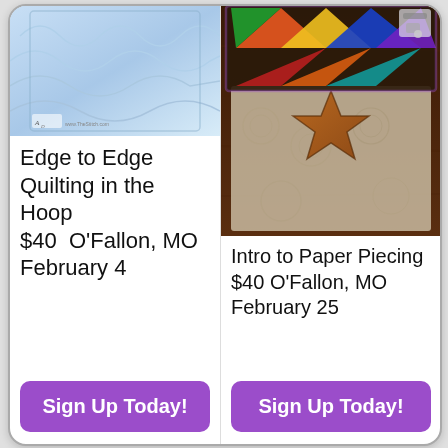[Figure (photo): Quilted fabric artwork with blue and white wave pattern, with a small logo/watermark in lower left]
Edge to Edge Quilting in the Hoop
$40  O'Fallon, MO
February 4
[Figure (photo): Colorful star quilt pattern with vibrant multi-colored star blocks on top, and brown/white patterned star quilt below on a dark wood surface]
Intro to Paper Piecing
$40 O'Fallon, MO
February 25
Sign Up Today!
Sign Up Today!